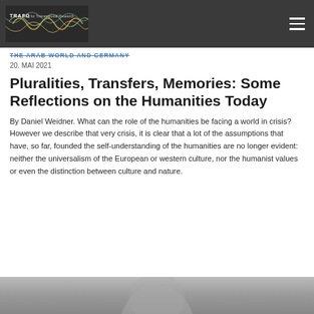[Figure (logo): TRAFO Blog for Transregional Research logo with colorful wave graphic on dark background]
THE ARAB WORLD AND GERMANY
20. MAI 2021
Pluralities, Transfers, Memories: Some Reflections on the Humanities Today
By Daniel Weidner. What can the role of the humanities be facing a world in crisis? However we describe that very crisis, it is clear that a lot of the assumptions that have, so far, founded the self-understanding of the humanities are no longer evident: neither the universalism of the European or western culture, nor the humanist values or even the distinction between culture and nature.
[Figure (photo): Black and white photo of a person, partially visible at bottom of page]